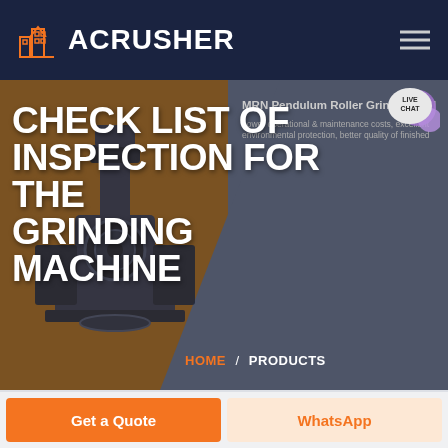ACRUSHER
CHECK LIST OF INSPECTION FOR THE GRINDING MACHINE
MRN Pendulum Roller Grinding Mill
Lower operational & maintenance costs, excellent environmental protection, better quality of finished
HOME / PRODUCTS
LIVE CHAT
Get a Quote
WhatsApp